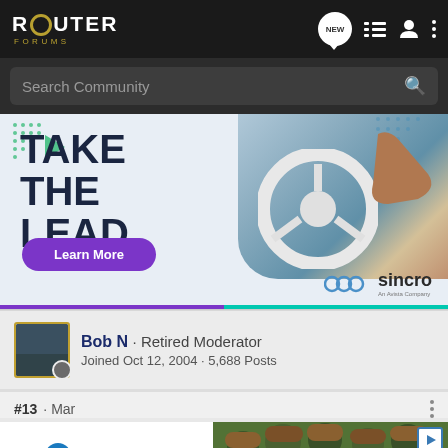ROUTER FORUMS
Search Community
[Figure (infographic): Advertisement banner: TAKE THE LEAD. Learn More button. Sincro logo. Car steering wheel photo.]
Bob N · Retired Moderator
Joined Oct 12, 2004 · 5,688 Posts
#13 · Mar
[Figure (infographic): UNICEF advertisement with children photo]
Never to